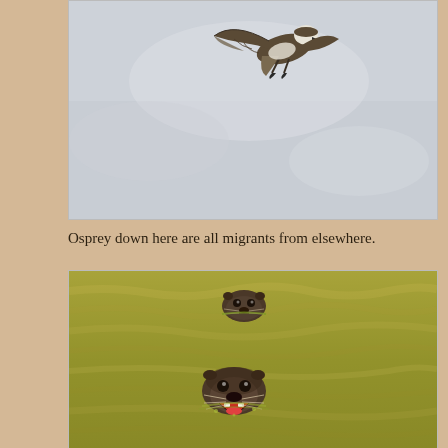[Figure (photo): An osprey in flight against a light grey overcast sky, wings spread, viewed from below/side]
Osprey down here are all migrants from elsewhere.
[Figure (photo): Two otters swimming in greenish-yellow water, heads above the surface, one with mouth open]